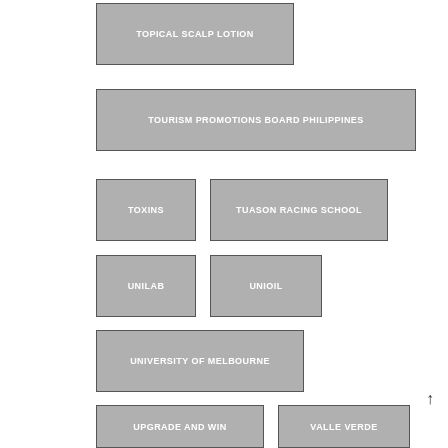TOPICAL SCALP LOTION
TOURISM PROMOTIONS BOARD PHILIPPINES
TOXINS
TUASON RACING SCHOOL
UNILAB
UNIOIL
UNIVERSITY OF MELBOURNE
UPGRADE AND WIN
VALLE VERDE
VERA CASTRO
VIATRIS COMPANY
VIGGGO.NET
VILLAR GROUP
VISA
VISA PHILIPPINES
VITAMIN B-COMPLEX
VIVO
VIVO PHONES
WARNER BROS
WEIGHT GAIN
WEIGHT LOSS